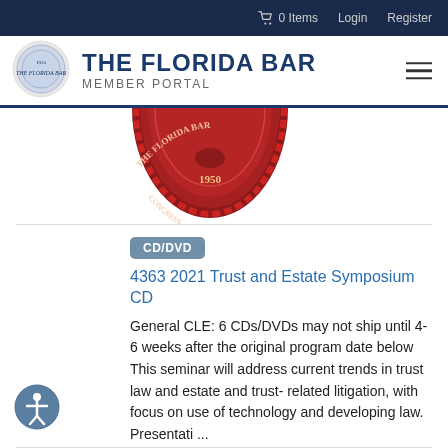0 Items  Login  Register
THE FLORIDA BAR MEMBER PORTAL
[Figure (logo): Florida Bar seal/logo — circular red wax seal with text and emblem, partially cropped from above]
CD/DVD
4363 2021 Trust and Estate Symposium CD
General CLE: 6 CDs/DVDs may not ship until 4-6 weeks after the original program date below This seminar will address current trends in trust law and estate and trust-related litigation, with focus on use of technology and developing law. Presentati ...